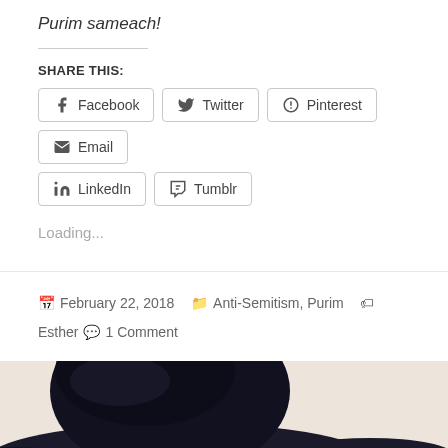Purim sameach!
SHARE THIS:
Facebook  Twitter  Pinterest  Email  LinkedIn  Tumblr
Loading...
February 22, 2018   Anti-Semitism, Purim   Esther  1 Comment
[Figure (photo): Photo of a person wearing a large dark tricorn hat, cropped to show mainly the hat against a light beige/cream background.]